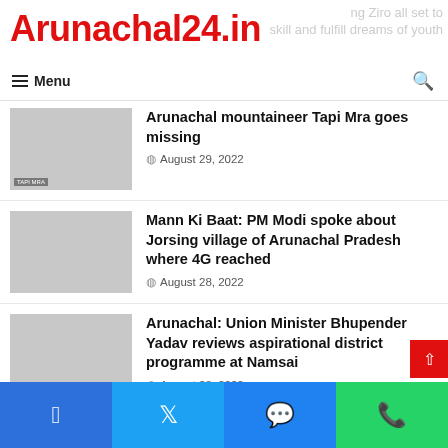Arunachal24.in
Menu
Arunachal mountaineer Tapi Mra goes missing
August 29, 2022
Mann Ki Baat: PM Modi spoke about Jorsing village of Arunachal Pradesh where 4G reached
August 28, 2022
Arunachal: Union Minister Bhupender Yadav reviews aspirational district programme at Namsai
August 28, 2022